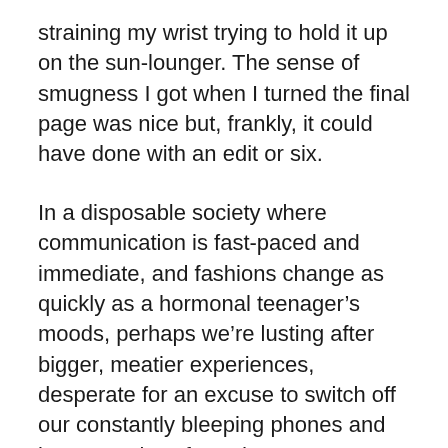straining my wrist trying to hold it up on the sun-lounger. The sense of smugness I got when I turned the final page was nice but, frankly, it could have done with an edit or six.
In a disposable society where communication is fast-paced and immediate, and fashions change as quickly as a hormonal teenager’s moods, perhaps we’re lusting after bigger, meatier experiences, desperate for an excuse to switch off our constantly bleeping phones and lose ourselves for a day. But I worry that we’re in danger of thinking bigger is automatically better. It isn’t. Sometimes brevity can be far more effective than an endless meandering around the point.
Of course, there are some topics that simply can’t be